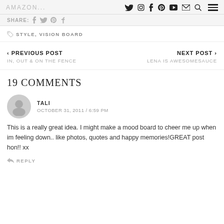AMAZON... (nav icons: twitter, instagram, facebook, pinterest, youtube, email, search, hamburger menu)
SHARE: (social icons: facebook, twitter, pinterest, tumblr)
STYLE, VISION BOARD
< PREVIOUS POST
IN, OUT & ON THE FENCE
NEXT POST >
LENA IS AWESOMESAUCE
19 COMMENTS
TALI
OCTOBER 31, 2011 / 6:59 PM
This is a really great idea. I might make a mood board to cheer me up when im feeling down.. like photos, quotes and happy memories!GREAT post hon!! xx
REPLY